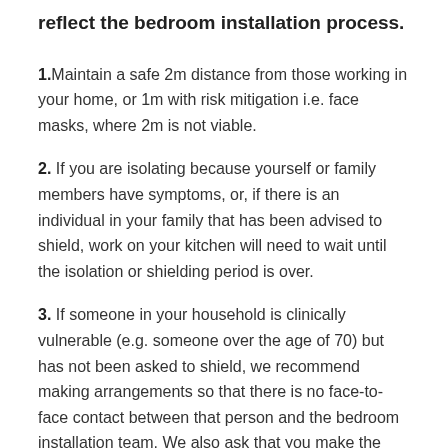reflect the bedroom installation process.
1. Maintain a safe 2m distance from those working in your home, or 1m with risk mitigation i.e. face masks, where 2m is not viable.
2. If you are isolating because yourself or family members have symptoms, or, if there is an individual in your family that has been advised to shield, work on your kitchen will need to wait until the isolation or shielding period is over.
3. If someone in your household is clinically vulnerable (e.g. someone over the age of 70) but has not been asked to shield, we recommend making arrangements so that there is no face-to-face contact between that person and the bedroom installation team. We also ask that you make the team aware of this so they can be extra vigilant and